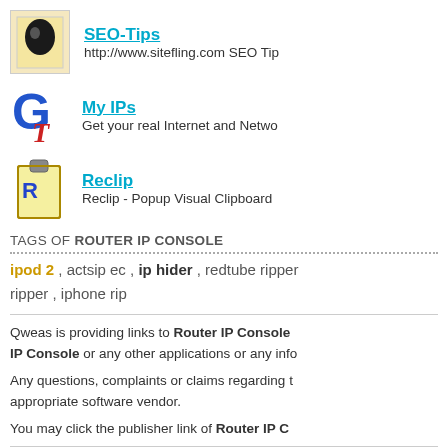SEO-Tips — http://www.sitefling.com SEO Tip
My IPs — Get your real Internet and Netwo
Reclip — Reclip - Popup Visual Clipboard
TAGS OF ROUTER IP CONSOLE
ipod 2 , actsip ec , ip hider , redtube ripper , iphone rip
Qweas is providing links to Router IP Console IP Console or any other applications or any info
Any questions, complaints or claims regarding the appropriate software vendor.
You may click the publisher link of Router IP C